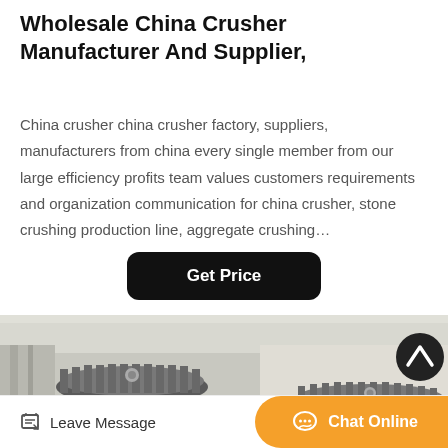Wholesale China Crusher Manufacturer And Supplier,
China crusher china crusher factory, suppliers, manufacturers from china every single member from our large efficiency profits team values customers requirements and organization communication for china crusher, stone crushing production line, aggregate crushing…
Get Price
[Figure (photo): Industrial cone crushers in a factory setting, showing large grey metal cylindrical crushing machines with red hydraulic cylinders at the base, multiple units visible.]
Leave Message
Chat Online